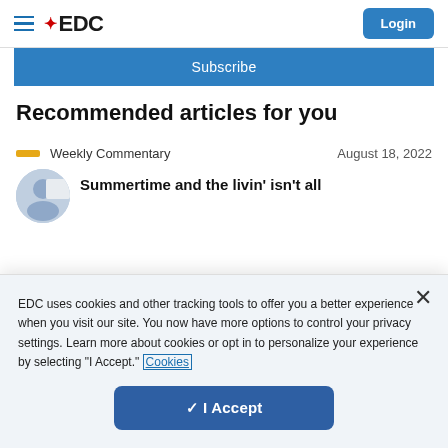EDC — Login
Subscribe
Recommended articles for you
Weekly Commentary — August 18, 2022
Summertime and the livin' isn't all
EDC uses cookies and other tracking tools to offer you a better experience when you visit our site. You now have more options to control your privacy settings. Learn more about cookies or opt in to personalize your experience by selecting "I Accept." Cookies
✓ I Accept